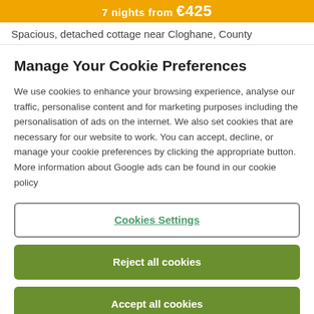7 nights from €425
Spacious, detached cottage near Cloghane, County
Manage Your Cookie Preferences
We use cookies to enhance your browsing experience, analyse our traffic, personalise content and for marketing purposes including the personalisation of ads on the internet. We also set cookies that are necessary for our website to work. You can accept, decline, or manage your cookie preferences by clicking the appropriate button. More information about Google ads can be found in our cookie policy
Cookies Settings
Reject all cookies
Accept all cookies